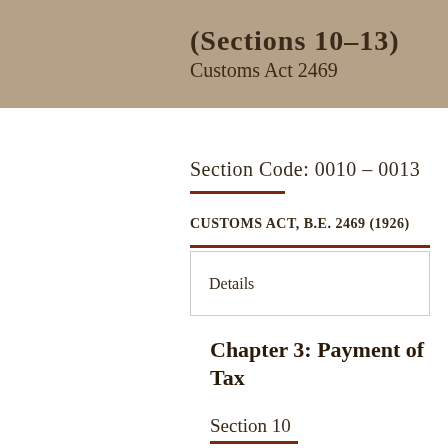(Sections 10–13) Customs Act 2469
Section Code: 0010 – 0013
CUSTOMS ACT, B.E. 2469 (1926)
Details
Chapter 3: Payment of Tax
Section 10
All taxes shall be collected in accordance with the